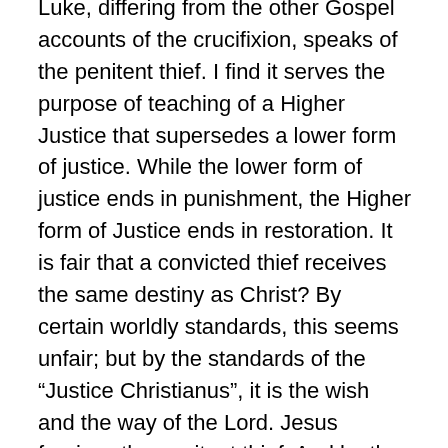Luke, differing from the other Gospel accounts of the crucifixion, speaks of the penitent thief.  I find it serves the purpose of teaching of a Higher Justice that supersedes a lower form of justice.  While the lower form of justice  ends in punishment, the Higher form of Justice ends in restoration.  It is fair that a convicted thief receives the same destiny as Christ?  By certain worldly standards, this seems unfair; but by the standards of the “Justice Christianus”, it is the wish and the way of the Lord.  Jesus forgives the penitent thief.  And by the intentional use of the word “paradise”, a word rarely used except in reference to the Garden of Eden.  Christ restores the thief to a state of innocence.  As contrary as it seems to our mortal sensibilities, Christ lifts him out of the realm of guilt and returns him to the realm of innocence.
It is an emphasis of Luke the writer … this transforming of